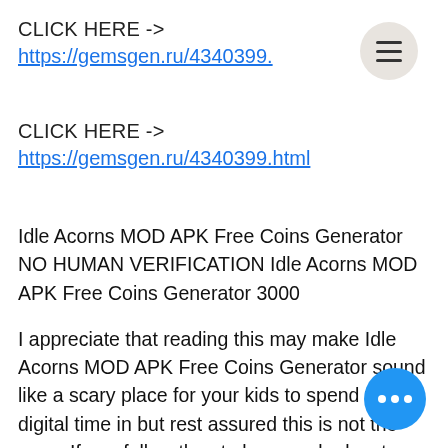CLICK HERE ->
https://gemsgen.ru/4340399.
CLICK HERE ->
https://gemsgen.ru/4340399.html
Idle Acorns MOD APK Free Coins Generator NO HUMAN VERIFICATION Idle Acorns MOD APK Free Coins Generator 3000
I appreciate that reading this may make Idle Acorns MOD APK Free Coins Generator sound like a scary place for your kids to spend their digital time in but rest assured this is not the case. If you follow the st above and educate your kids on how t safe and let you know when something isn't